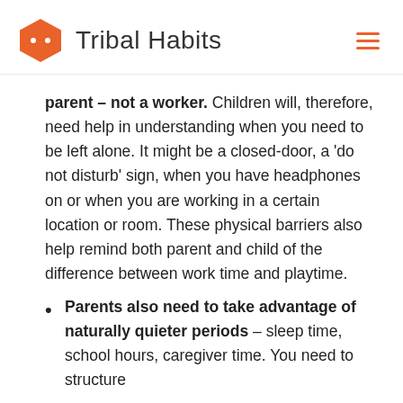Tribal Habits
parent – not a worker. Children will, therefore, need help in understanding when you need to be left alone. It might be a closed-door, a 'do not disturb' sign, when you have headphones on or when you are working in a certain location or room. These physical barriers also help remind both parent and child of the difference between work time and playtime.
Parents also need to take advantage of naturally quieter periods – sleep time, school hours, caregiver time. You need to structure